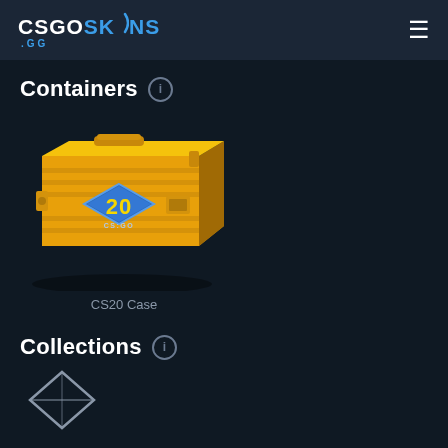CSGOSKINS .GG
Containers
[Figure (photo): CS20 Case — a gold-colored locked loot crate with CS:GO 20th anniversary branding and a blue diamond label showing '20']
CS20 Case
Collections